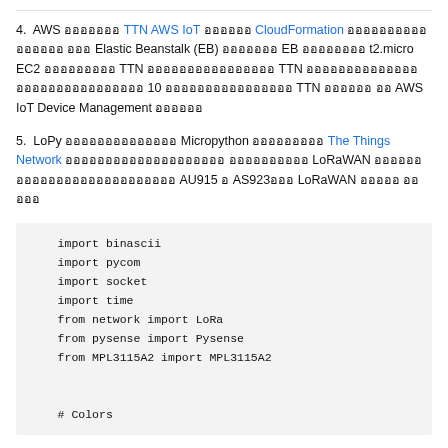4. AWS xxxxxxx TTN AWS IoT xxxxxx CloudFormation xxxxxxxxxxxxxxxx xxx Elastic Beanstalk (EB) xxxxxxx EB xxxxxxxx t2.micro EC2 xxxxxxxxx TTN xxxxxxxxxxxxxxxx TTN xxxxxxxxxxxxxxxxxxxxxxxxxxxxxx 10 xxxxxxxxxxxxxxxx TTN xxxxxxxxx xx AWS IoT Device Management xxxxxx
5. LoPy xxxxxxxxxxxxxxx Micropython xxxxxxxxx The Things Network xxxxxxxxxxxxxxxxxxxx xxxxxxxxxx LoRaWAN xxxxxxxxxxxxxxxxxxxxxxxxxx AU915 x AS923xxx LoRaWAN xxxxxx xxxxx
[Figure (screenshot): Code block showing Python imports: import binascii, import pycom, import socket, import time, from network import LoRa, from pysense import Pysense, from MPL3115A2 import MPL3115A2, # Colors]